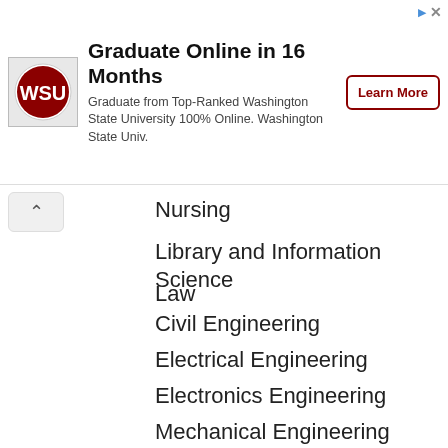[Figure (other): Washington State University online graduate program advertisement banner with WSU logo, title 'Graduate Online in 16 Months', description text, and 'Learn More' button]
Nursing
Library and Information Science
Law
Civil Engineering
Electrical Engineering
Electronics Engineering
Mechanical Engineering
Biology
Fisheries Science
Philosophy
Anthropology
Environmental Studies
Music
Physical Education